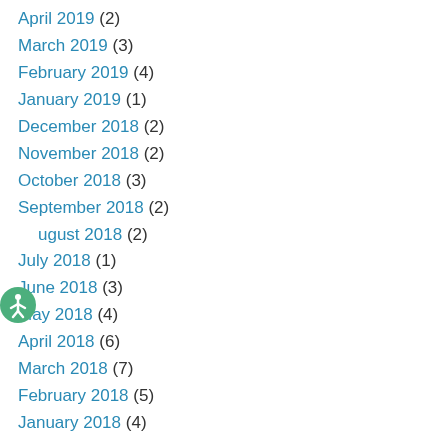April 2019 (2)
March 2019 (3)
February 2019 (4)
January 2019 (1)
December 2018 (2)
November 2018 (2)
October 2018 (3)
September 2018 (2)
August 2018 (2)
July 2018 (1)
June 2018 (3)
May 2018 (4)
April 2018 (6)
March 2018 (7)
February 2018 (5)
January 2018 (4)